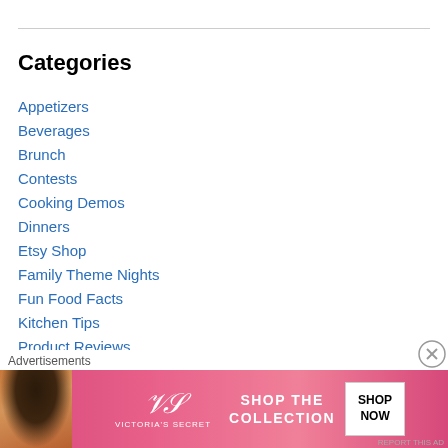Categories
Appetizers
Beverages
Brunch
Contests
Cooking Demos
Dinners
Etsy Shop
Family Theme Nights
Fun Food Facts
Kitchen Tips
Product Reviews
Random Thoughts
Advertisements
[Figure (photo): Victoria's Secret advertisement banner with model, VS logo, 'SHOP THE COLLECTION' text, and 'SHOP NOW' button]